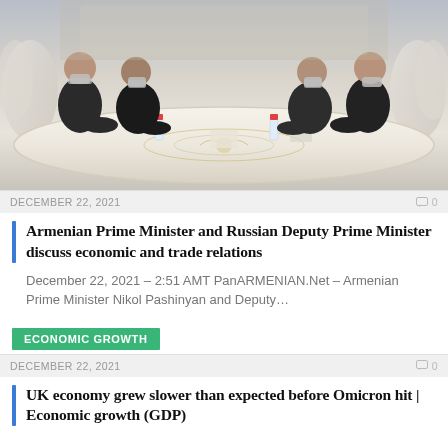[Figure (photo): Officials sitting on opposite sides of a long ornate white conference table wearing face masks, in an elegant room with gold decor]
DECEMBER 22, 2021
Armenian Prime Minister and Russian Deputy Prime Minister discuss economic and trade relations
December 22, 2021 – 2:51 AMT PanARMENIAN.Net – Armenian Prime Minister Nikol Pashinyan and Deputy…
ECONOMIC GROWTH
DECEMBER 22, 2021
UK economy grew slower than expected before Omicron hit | Economic growth (GDP)